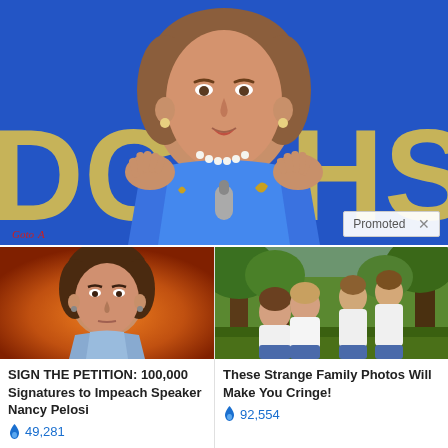[Figure (photo): Main large photo: woman in blue blazer with pearl necklace gesturing with both hands, speaking at podium, blue banner with yellow letters 'DC' and 'HS' visible in background]
Promoted ×
[Figure (photo): Thumbnail photo: woman with short dark hair against orange background, serious expression, light blue clothing]
SIGN THE PETITION: 100,000 Signatures to Impeach Speaker Nancy Pelosi
🔥 49,281
[Figure (photo): Thumbnail photo: group of people in white shirts posing outdoors among trees, appears to be a family photo]
These Strange Family Photos Will Make You Cringe!
🔥 92,554